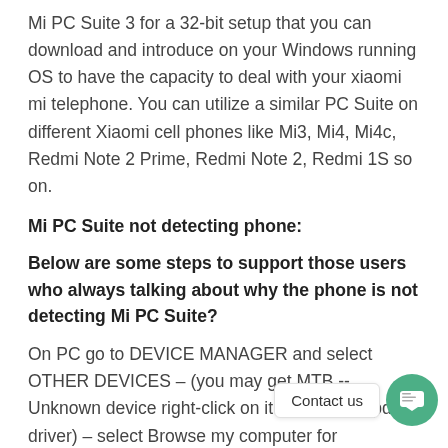Mi PC Suite 3 for a 32-bit setup that you can download and introduce on your Windows running OS to have the capacity to deal with your xiaomi mi telephone. You can utilize a similar PC Suite on different Xiaomi cell phones like Mi3, Mi4, Mi4c, Redmi Note 2 Prime, Redmi Note 2, Redmi 1S so on.
Mi PC Suite not detecting phone:
Below are some steps to support those users who always talking about why the phone is not detecting Mi PC Suite?
On PC go to DEVICE MANAGER and select OTHER DEVICES – (you may get MTB -- Unknown device right-click on it and select update driver) – select Browse my computer for